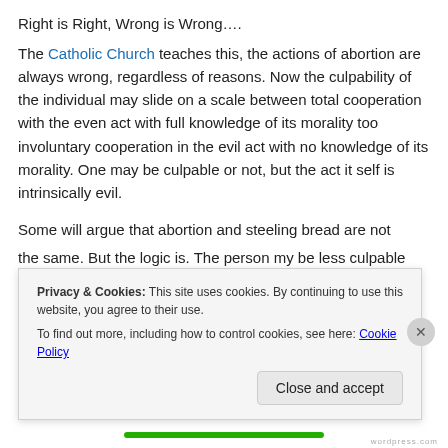Right is Right, Wrong is Wrong….
The Catholic Church teaches this, the actions of abortion are always wrong, regardless of reasons. Now the culpability of the individual may slide on a scale between total cooperation with the even act with full knowledge of its morality too involuntary cooperation in the evil act with no knowledge of its morality. One may be culpable or not, but the act it self is intrinsically evil.
Some will argue that abortion and steeling bread are not the same. But the logic is. The person my be less culpable
Privacy & Cookies: This site uses cookies. By continuing to use this website, you agree to their use.
To find out more, including how to control cookies, see here: Cookie Policy
Close and accept